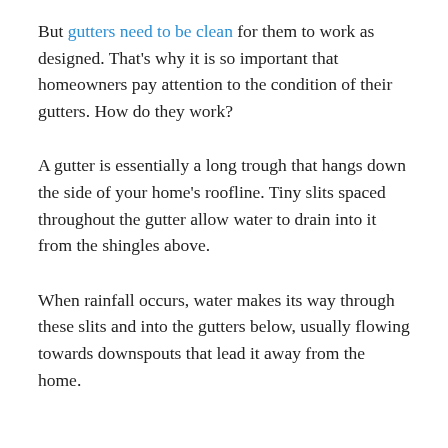But gutters need to be clean for them to work as designed. That's why it is so important that homeowners pay attention to the condition of their gutters. How do they work?
A gutter is essentially a long trough that hangs down the side of your home's roofline. Tiny slits spaced throughout the gutter allow water to drain into it from the shingles above.
When rainfall occurs, water makes its way through these slits and into the gutters below, usually flowing towards downspouts that lead it away from the home.